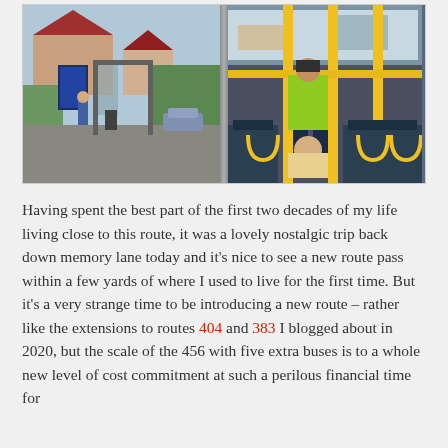[Figure (photo): Two side-by-side bus photos: left shows a bus stop shelter on a suburban street with a red-roofed house in the background; right shows the interior of a bus with yellow handrails and a worker in a hi-vis vest visible.]
Having spent the best part of the first two decades of my life living close to this route, it was a lovely nostalgic trip back down memory lane today and it's nice to see a new route pass within a few yards of where I used to live for the first time. But it's a very strange time to be introducing a new route – rather like the extensions to routes 404 and 383 I blogged about in 2020, but the scale of the 456 with five extra buses is to a whole new level of cost commitment at such a perilous financial time for